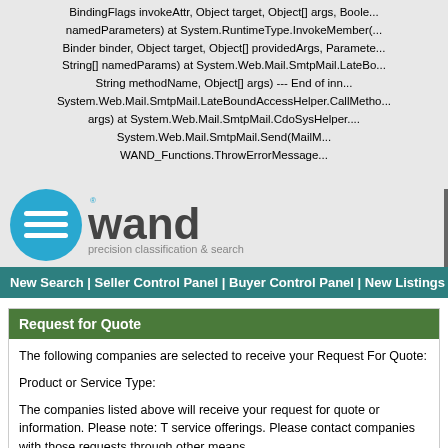BindingFlags invokeAttr, Object target, Object[] args, Bool namedParameters) at System.RuntimeType.InvokeMember(... Binder binder, Object target, Object[] providedArgs, Paramete... String[] namedParams) at System.Web.Mail.SmtpMail.LateBo... String methodName, Object[] args) --- End of inn... System.Web.Mail.SmtpMail.LateBoundAccessHelper.CallMetho... args) at System.Web.Mail.SmtpMail.CdoSysHelper.... System.Web.Mail.SmtpMail.Send(MailM... WAND_Functions.ThrowErrorMessag...
[Figure (logo): WAND logo - blue circle with horizontal lines and 'wand' text with tagline 'precision classification & search']
New Search | Seller Control Panel | Buyer Control Panel | New Listings |
Request for Quote
The following companies are selected to receive your Request For Quote:
Product or Service Type:
The companies listed above will receive your request for quote or information. Please note: T service offerings. Please contact companies with those requests through other means.
If you are already a Registered Buyer and would like to pre populate this form with your exist...